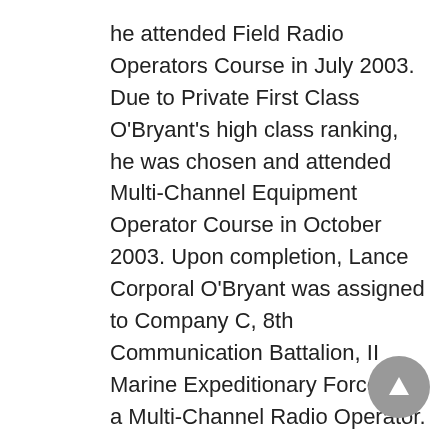he attended Field Radio Operators Course in July 2003. Due to Private First Class O'Bryant's high class ranking, he was chosen and attended Multi-Channel Equipment Operator Course in October 2003. Upon completion, Lance Corporal O'Bryant was assigned to Company C, 8th Communication Battalion, II Marine Expeditionary Force as a Multi-Channel Radio Operator.
In 2004, while serving with 8th Communication Battalion, Lance Corporal O'Bryant was deployed to Iraq and temporarily assigned to Combat Service Support Group 11 in support of Operation Iraqi Freedom, serving outside of his MOS